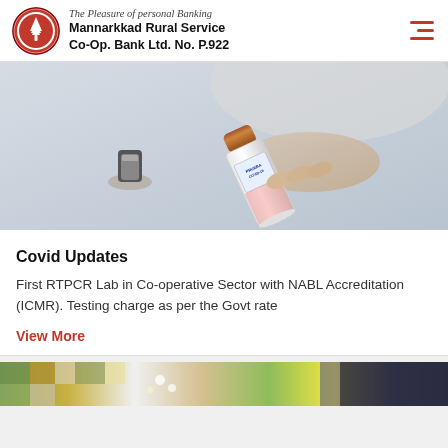The Pleasure of personal Banking — Mannarkkad Rural Service Co-Op. Bank Ltd. No. P.922
[Figure (photo): A hand holding a COVID-19 RTPCR test tube labeled 'PRUEBA COVID-19', with a small vial in the background, on a light grey background.]
Covid Updates
First RTPCR Lab in Co-operative Sector with NABL Accreditation (ICMR). Testing charge as per the Govt rate
View More
[Figure (photo): Bottom strip image showing a colorful outdoor scene with flowers and foliage.]